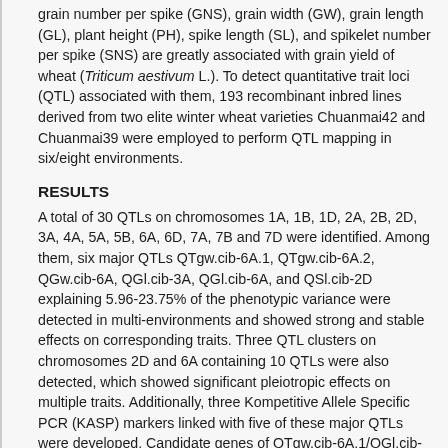grain number per spike (GNS), grain width (GW), grain length (GL), plant height (PH), spike length (SL), and spikelet number per spike (SNS) are greatly associated with grain yield of wheat (Triticum aestivum L.). To detect quantitative trait loci (QTL) associated with them, 193 recombinant inbred lines derived from two elite winter wheat varieties Chuanmai42 and Chuanmai39 were employed to perform QTL mapping in six/eight environments.
RESULTS
A total of 30 QTLs on chromosomes 1A, 1B, 1D, 2A, 2B, 2D, 3A, 4A, 5A, 5B, 6A, 6D, 7A, 7B and 7D were identified. Among them, six major QTLs QTgw.cib-6A.1, QTgw.cib-6A.2, QGw.cib-6A, QGl.cib-3A, QGl.cib-6A, and QSl.cib-2D explaining 5.96-23.75% of the phenotypic variance were detected in multi-environments and showed strong and stable effects on corresponding traits. Three QTL clusters on chromosomes 2D and 6A containing 10 QTLs were also detected, which showed significant pleiotropic effects on multiple traits. Additionally, three Kompetitive Allele Specific PCR (KASP) markers linked with five of these major QTLs were developed. Candidate genes of QTgw.cib-6A.1/QGl.cib-6A and QGl.cib-3A were analyzed based on the spatiotemporal expression patterns, gene annotation, and orthologous search.